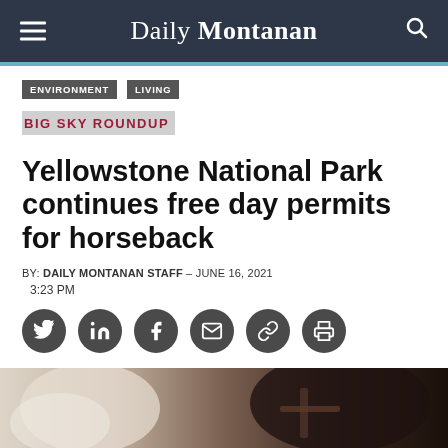Daily Montanan
ENVIRONMENT  LIVING
BIG SKY ROUNDUP
Yellowstone National Park continues free day permits for horseback
BY: DAILY MONTANAN STAFF – JUNE 16, 2021  3:23 PM
[Figure (infographic): Social media sharing icons: Twitter, LinkedIn, Facebook, Email, Link, Print]
[Figure (photo): Photo of horses, showing mane and bridle of a dark horse]